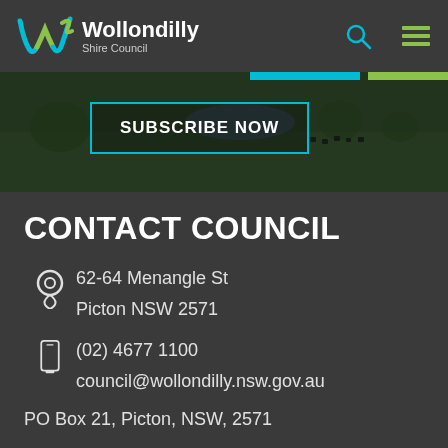[Figure (logo): Wollondilly Shire Council logo with stylized W mark in teal and green, with search and menu icons]
[Figure (photo): Hero banner showing pastoral landscape with cattle, teal accent bars, and SUBSCRIBE NOW button with teal border]
CONTACT COUNCIL
62-64 Menangle St
Picton NSW 2571
(02) 4677 1100
council@wollondilly.nsw.gov.au
PO Box 21, Picton, NSW, 2571